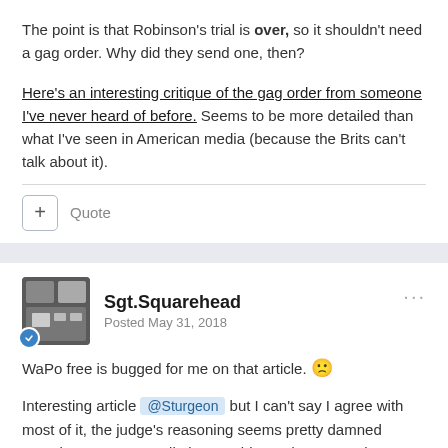The point is that Robinson's trial is over, so it shouldn't need a gag order. Why did they send one, then?
Here's an interesting critique of the gag order from someone I've never heard of before. Seems to be more detailed than what I've seen in American media (because the Brits can't talk about it).
Quote
Sgt.Squarehead
Posted May 31, 2018
WaPo free is bugged for me on that article. 🙁
Interesting article @Sturgeon but I can't say I agree with most of it, the judge's reasoning seems pretty damned sound to me; It's not all about Robinson (except perhaps inside his demented little…